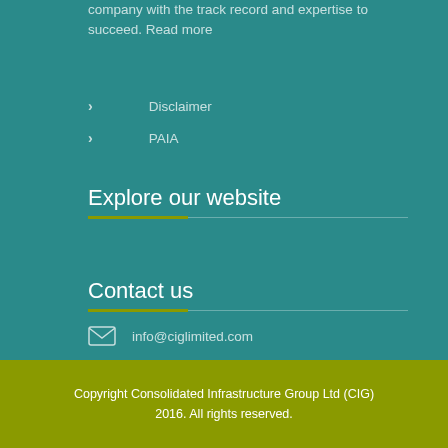company with the track record and expertise to succeed. Read more
Disclaimer
PAIA
Explore our website
Contact us
info@ciglimited.com
Copyright Consolidated Infrastructure Group Ltd (CIG) 2016. All rights reserved.